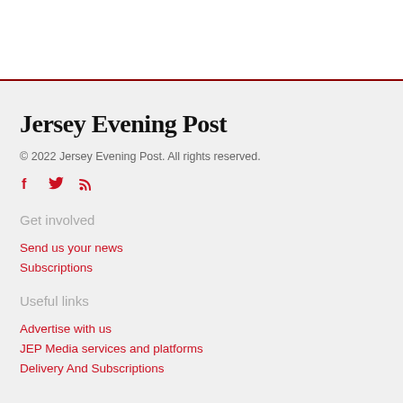Jersey Evening Post
© 2022 Jersey Evening Post. All rights reserved.
[Figure (other): Social media icons: Facebook, Twitter, RSS feed]
Get involved
Send us your news
Subscriptions
Useful links
Advertise with us
JEP Media services and platforms
Delivery And Subscriptions